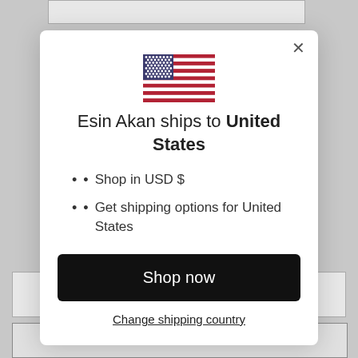[Figure (illustration): US flag icon centered at top of modal dialog]
Esin Akan ships to United States
Shop in USD $
Get shipping options for United States
Shop now
Change shipping country